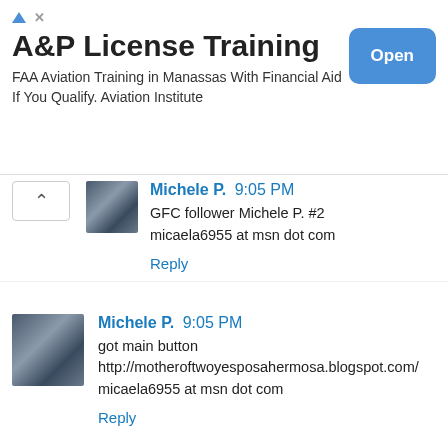[Figure (screenshot): Advertisement banner for A&P License Training. Title: 'A&P License Training'. Body text: 'FAA Aviation Training in Manassas With Financial Aid If You Qualify. Aviation Institute'. Blue 'Open' button on the right. Ad icon and close X in top right corner.]
Michele P. 9:05 PM
GFC follower Michele P. #2
micaela6955 at msn dot com
Reply
Michele P. 9:05 PM
got main button
http://motheroftwoyesposahermosa.blogspot.com/
micaela6955 at msn dot com
Reply
Michele P. 9:06 PM
twitter follower micaela6955 tweet
http://twitter.com/#!/micaela6955/status/771794135355392